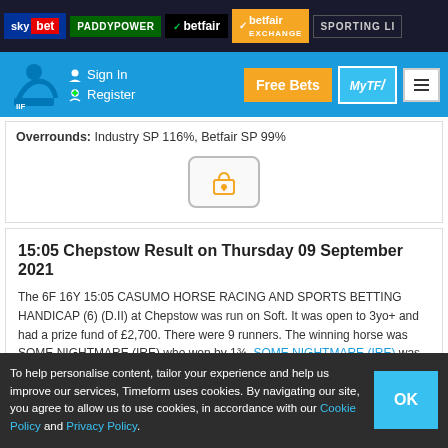Sky Bet | Paddy Power | Betfair | Betfair Exchange | Sporting Li...
Sign In | Register | Free Bets | MyTF | Menu
Overrounds: Industry SP 116%, Betfair SP 99%
15:05 Chepstow Result on Thursday 09 September 2021
The 6F 16Y 15:05 CASUMO HORSE RACING AND SPORTS BETTING HANDICAP (6) (D.II) at Chepstow was run on Soft. It was open to 3yo+ and had a prize fund of £2,700. There were 9 runners. The winning horse was SOME NIGHTMARE (IRE) who won by 1¾. SOME NIGHTMARE (IRE) was ridden by Rossa Ryan. SOME NIGHTMARE (IRE) had an industry starting price (ISP) of 11/4f.
How the rest of the runners fared:
To help personalise content, tailor your experience and help us improve our services, Timeform uses cookies. By navigating our site, you agree to allow us to use cookies, in accordance with our Cookie Policy and Privacy Policy.